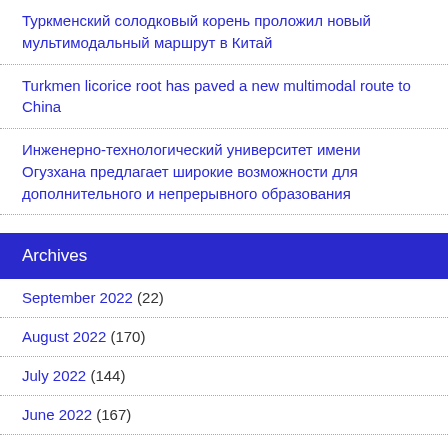Туркменский солодковый корень проложил новый мультимодальный маршрут в Китай
Turkmen licorice root has paved a new multimodal route to China
Инженерно-технологический университет имени Огузхана предлагает широкие возможности для дополнительного и непрерывного образования
Archives
September 2022 (22)
August 2022 (170)
July 2022 (144)
June 2022 (167)